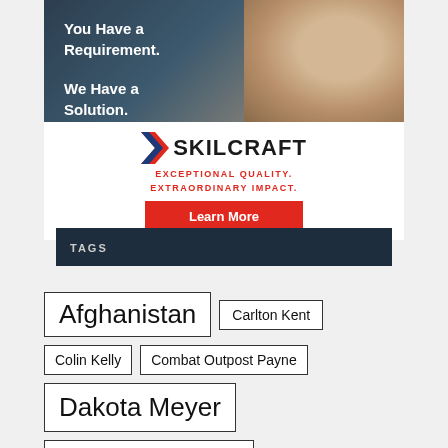[Figure (infographic): SKILCRAFT advertisement banner with photo of smiling man and text 'You Have a Requirement. We Have a Solution.' with logo and 'EXCEPTIONAL QUALITY. EXTRAORDINARY IMPACT.' tagline and Learn More button]
TAGS
Afghanistan
Carlton Kent
Colin Kelly
Combat Outpost Payne
Dakota Meyer